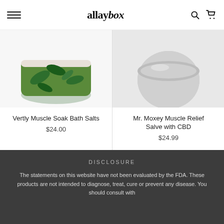allaybox — navigation header with menu, search, and cart icons
[Figure (photo): Product photo of Vertly Muscle Soak Bath Salts — green tropical leaf patterned container on white background, cropped at top]
Vertly Muscle Soak Bath Salts
$24.00
[Figure (photo): Product photo of Mr. Moxey Muscle Relief Salve with CBD — rounded tin/jar on light grey background, cropped at top]
Mr. Moxey Muscle Relief Salve with CBD
$24.99
DISCLOSURE
The statements on this website have not been evaluated by the FDA. These products are not intended to diagnose, treat, cure or prevent any disease. You should consult with